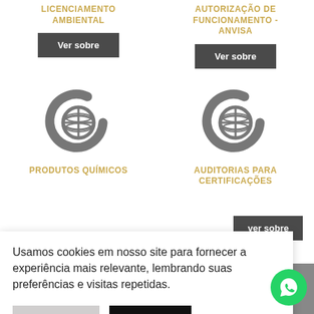LICENCIAMENTO AMBIENTAL
AUTORIZAÇÃO DE FUNCIONAMENTO - ANVISA
[Figure (illustration): Company logo icon: stylized C with globe inside, gray color, left column]
[Figure (illustration): Company logo icon: stylized C with globe inside, gray color, right column]
PRODUTOS QUÍMICOS
AUDITORIAS PARA CERTIFICAÇÕES
Usamos cookies em nosso site para fornecer a experiência mais relevante, lembrando suas preferências e visitas repetidas.
[Figure (logo): WhatsApp icon button, green circle with phone handset]
[Figure (illustration): Partial gold/yellow circle at bottom of page]